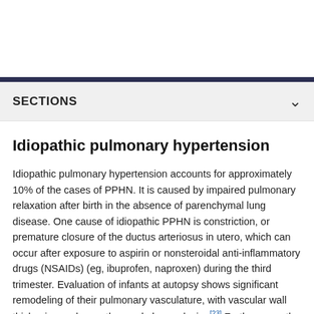SECTIONS
Idiopathic pulmonary hypertension
Idiopathic pulmonary hypertension accounts for approximately 10% of the cases of PPHN. It is caused by impaired pulmonary relaxation after birth in the absence of parenchymal lung disease. One cause of idiopathic PPHN is constriction, or premature closure of the ductus arteriosus in utero, which can occur after exposure to aspirin or nonsteroidal anti-inflammatory drugs (NSAIDs) (eg, ibuprofen, naproxen) during the third trimester. Evaluation of infants at autopsy shows significant remodeling of their pulmonary vasculature, with vascular wall thickening and smooth muscle hyperplasia. [23] Furthermore, the smooth muscle extends to the level of the intra-acinar arteries, which does not normally occur until late in the postnatal period. As a result, infants do